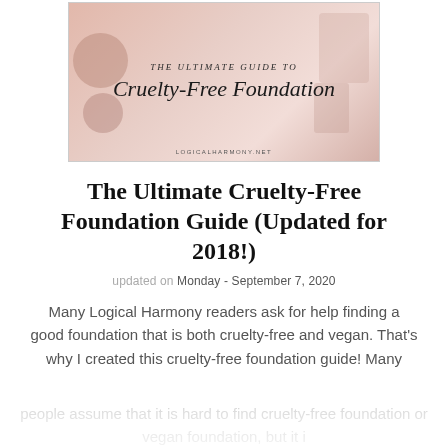[Figure (illustration): Blog post header image with text overlay reading 'The Ultimate Guide to Cruelty-Free Foundation' in script font on a pink/beige cosmetics background. URL logicalharmony.net shown at bottom.]
The Ultimate Cruelty-Free Foundation Guide (Updated for 2018!)
updated on Monday - September 7, 2020
Many Logical Harmony readers ask for help finding a good foundation that is both cruelty-free and vegan. That's why I created this cruelty-free foundation guide! Many people assume that it is hard to find cruelty-free foundation or vegan foundation, but it i…